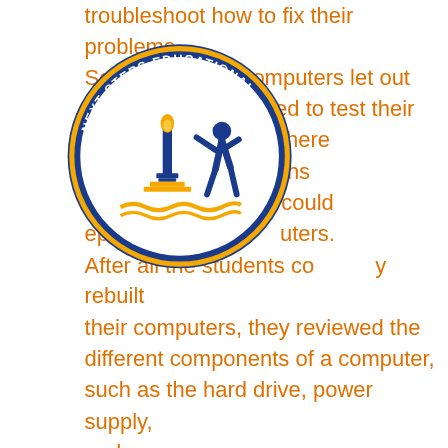troubleshoot how to fix their problems. Some students' computers let out beeps when they tried to test their ing it be known that there . They asked questions d what those beeps could epair their uters. After all the students co y rebuilt their computers, they reviewed the different components of a computer, such as the hard drive, power supply, and processor.
[Figure (logo): Next Steps Educational Academy circular logo with blue border, gold lettering, featuring a torch and figure]
[Figure (other): Orange/gold hamburger menu icon with three horizontal lines]
NEXT STEPS Educational Academy
"THEIR SUCCESS IS OUR FUTURE"
Not only did the students continue to gain knowledge about technology, they also got the chance to go outside and learn something a bit different than what is normally taught in a classroom. The guest speaker for today, Mr. Keith